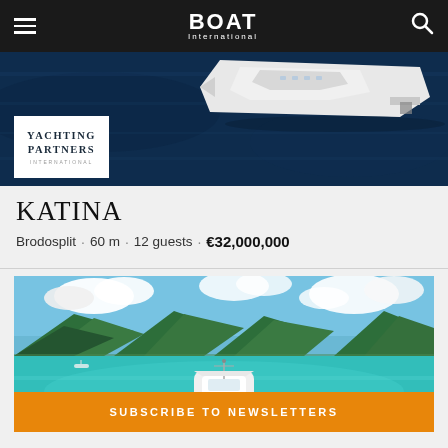BOAT International
[Figure (photo): Aerial view of a large white superyacht on dark blue ocean water, shot from above showing the stern]
[Figure (logo): Yachting Partners International logo in white box with serif text]
KATINA
Brodosplit · 60 m · 12 guests · €32,000,000
[Figure (photo): Aerial view of a white motor yacht anchored in turquoise tropical waters with green mountains in the background under partly cloudy sky]
SUBSCRIBE TO NEWSLETTERS